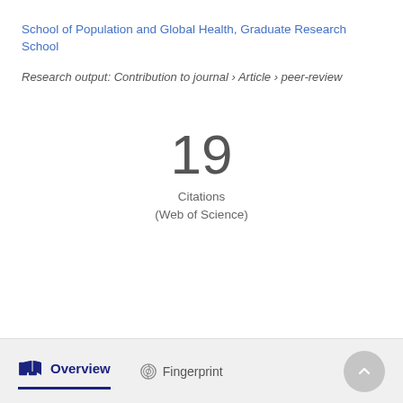School of Population and Global Health, Graduate Research School
Research output: Contribution to journal › Article › peer-review
19
Citations
(Web of Science)
Overview   Fingerprint